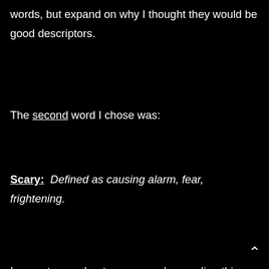words, but expand on why I thought they would be good descriptors.
The second word I chose was:
Scary:  Defined as causing alarm, fear, frightening.
I am not sure about everyone else reading this posting, but grief scared the hell out of me.  I experienced things I had never experienced in my 38 years.  After the death of my second child, I started experiencing episodes of depression, anxiety attacks, fear, thoughts of dyeing, uncontrollable tears and physically weeping (almost like convulsing) that didn't